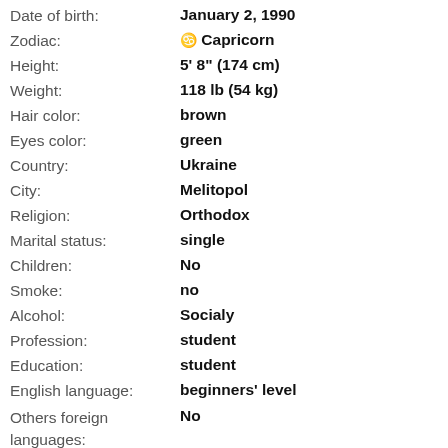Date of birth: January 2, 1990
Zodiac: ♑ Capricorn
Height: 5' 8" (174 cm)
Weight: 118 lb (54 kg)
Hair color: brown
Eyes color: green
Country: Ukraine
City: Melitopol
Religion: Orthodox
Marital status: single
Children: No
Smoke: no
Alcohol: Socialy
Profession: student
Education: student
English language: beginners' level
Others foreign languages: No
Seeks partner: 32 - 50 years old